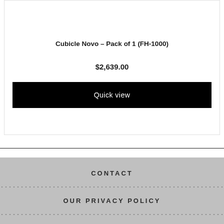Cubicle Novo – Pack of 1 (FH-1000)
$2,639.00
Quick view
CONTACT
OUR PRIVACY POLICY